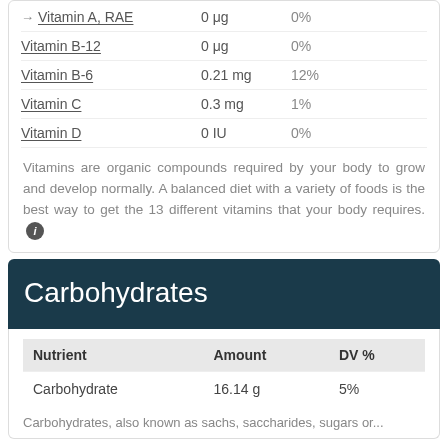→ Vitamin A, RAE  0 μg  0%
Vitamin B-12  0 μg  0%
Vitamin B-6  0.21 mg  12%
Vitamin C  0.3 mg  1%
Vitamin D  0 IU  0%
Vitamins are organic compounds required by your body to grow and develop normally. A balanced diet with a variety of foods is the best way to get the 13 different vitamins that your body requires.
Carbohydrates
| Nutrient | Amount | DV % |
| --- | --- | --- |
| Carbohydrate | 16.14 g | 5% |
Carbohydrates, also known as sachs, saccharides, sugars or...